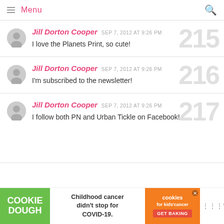Menu
Jill Dorton Cooper  SEP 7, 2012 AT 9:26 PM
I love the Planets Print, so cute!
Jill Dorton Cooper  SEP 7, 2012 AT 9:26 PM
I'm subscribed to the newsletter!
Jill Dorton Cooper  SEP 7, 2012 AT 9:26 PM
I follow both PN and Urban Tickle on Facebook!
[Figure (infographic): Ad banner: Cookie Dough / Childhood cancer didn't stop for COVID-19 / cookies for kids cancer GET BAKING]